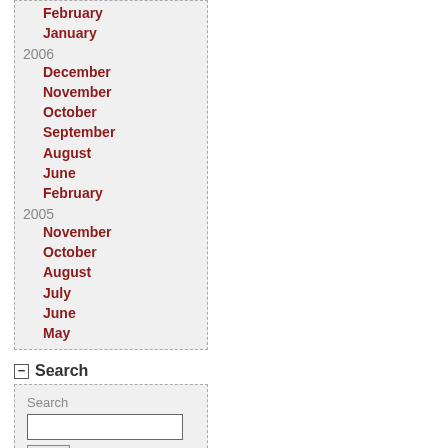February
January
2006
December
November
October
September
August
June
February
2005
November
October
August
July
June
May
Search
Search
Counter Totals
Total: 12,384
Today: 53
Yesterday: 118
Most Recent Entries